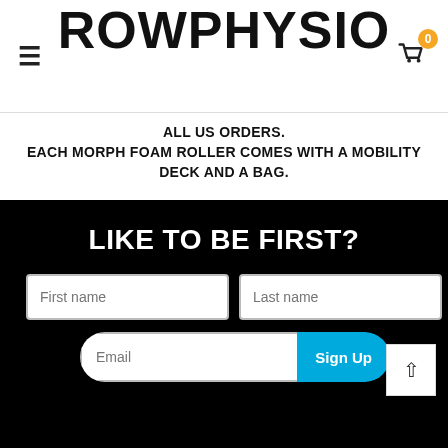ROWPHYSIO
ALL US ORDERS.
EACH MORPH FOAM ROLLER COMES WITH A MOBILITY DECK AND A BAG.
LIKE TO BE FIRST?
[Figure (screenshot): Email signup form with First name, Last name, Email fields and Sign Up button]